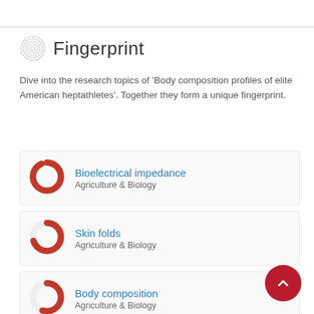Fingerprint
Dive into the research topics of 'Body composition profiles of elite American heptathletes'. Together they form a unique fingerprint.
[Figure (infographic): Donut chart icon for Bioelectrical impedance, Agriculture & Biology — nearly full red ring]
Bioelectrical impedance
Agriculture & Biology
[Figure (infographic): Donut chart icon for Skin folds, Agriculture & Biology — about 70% red ring]
Skin folds
Agriculture & Biology
[Figure (infographic): Donut chart icon for Body composition, Agriculture & Biology — about 55% red ring]
Body composition
Agriculture & Biology
[Figure (infographic): Donut chart icon for Body Composition, Medicine & Life Sciences — about 50% red ring]
Body Composition
Medicine & Life Sciences